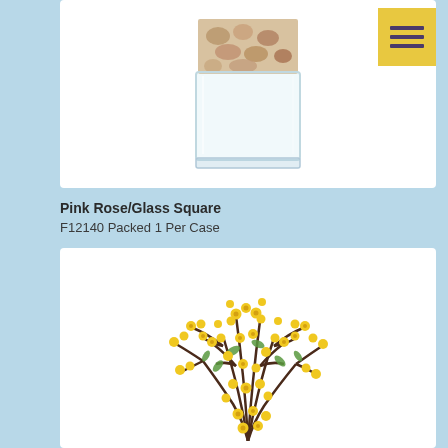[Figure (photo): Square glass vase with decorative stones/pebbles inside, on white background]
Pink Rose/Glass Square
F12140 Packed 1 Per Case
[Figure (photo): Yellow cherry blossom branches with small yellow flowers and green leaves on white background]